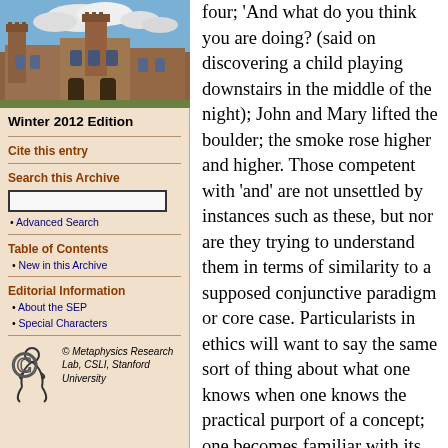[Figure (photo): Photograph of a historic stone university building with Gothic architecture under a blue sky with clouds]
Winter 2012 Edition
Cite this entry
Search this Archive
Advanced Search
Table of Contents
New in this Archive
Editorial Information
About the SEP
Special Characters
[Figure (logo): Metaphysics Research Lab logo — stylized figure]
© Metaphysics Research Lab, CSLI, Stanford University
four; 'And what do you think you are doing? (said on discovering a child playing downstairs in the middle of the night); John and Mary lifted the boulder; the smoke rose higher and higher. Those competent with 'and' are not unsettled by instances such as these, but nor are they trying to understand them in terms of similarity to a supposed conjunctive paradigm or core case. Particularists in ethics will want to say the same sort of thing about what one knows when one knows the practical purport of a concept; one becomes familiar with its practical grammar. There is complexity, then, but it is